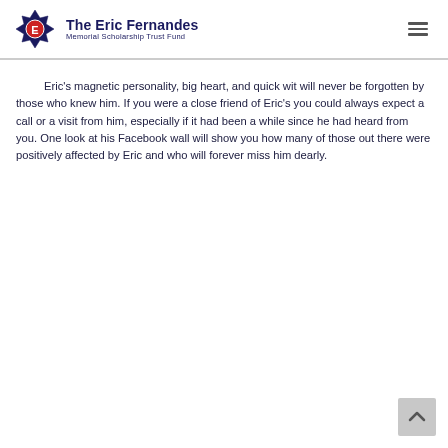The Eric Fernandes Memorial Scholarship Trust Fund
Eric's magnetic personality, big heart, and quick wit will never be forgotten by those who knew him. If you were a close friend of Eric's you could always expect a call or a visit from him, especially if it had been a while since he had heard from you. One look at his Facebook wall will show you how many of those out there were positively affected by Eric and who will forever miss him dearly.